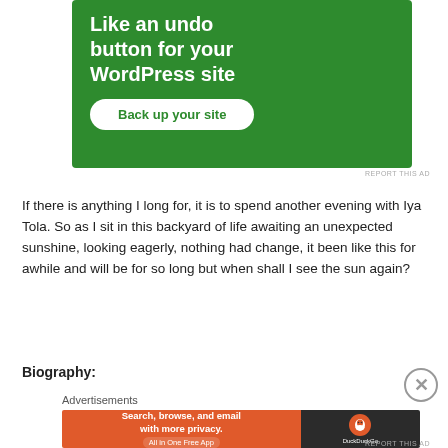[Figure (other): Green advertisement banner for WordPress backup service with text 'Like an undo button for your WordPress site' and a 'Back up your site' button]
REPORT THIS AD
If there is anything I long for, it is to spend another evening with Iya Tola. So as I sit in this backyard of life awaiting an unexpected sunshine, looking eagerly, nothing had change, it been like this for awhile and will be for so long but when shall I see the sun again?
Biography:
Advertisements
[Figure (other): DuckDuckGo advertisement banner: orange left panel with 'Search, browse, and email with more privacy. All in One Free App', dark right panel with DuckDuckGo logo]